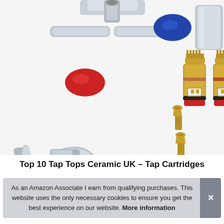[Figure (photo): Product photo showing tap/faucet parts: a chrome mixer tap with red and blue indicator caps at top, a chrome single wall-mount tap on the left, two brass tap cartridges with red and blue bases on the right, and two brass screws in the center foreground.]
Top 10 Tap Tops Ceramic UK – Tap Cartridges
As an Amazon Associate I earn from qualifying purchases. This website uses the only necessary cookies to ensure you get the best experience on our website. More information